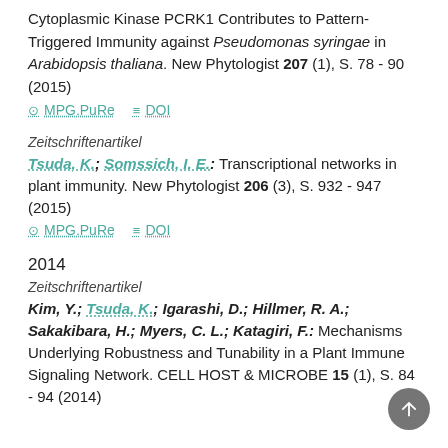Cytoplasmic Kinase PCRK1 Contributes to Pattern-Triggered Immunity against Pseudomonas syringae in Arabidopsis thaliana. New Phytologist 207 (1), S. 78 - 90 (2015)
MPG.PuRe   DOI
Zeitschriftenartikel
Tsuda, K.; Somssich, I. E.: Transcriptional networks in plant immunity. New Phytologist 206 (3), S. 932 - 947 (2015)
MPG.PuRe   DOI
2014
Zeitschriftenartikel
Kim, Y.; Tsuda, K.; Igarashi, D.; Hillmer, R. A.; Sakakibara, H.; Myers, C. L.; Katagiri, F.: Mechanisms Underlying Robustness and Tunability in a Plant Immune Signaling Network. CELL HOST & MICROBE 15 (1), S. 84 - 94 (2014)